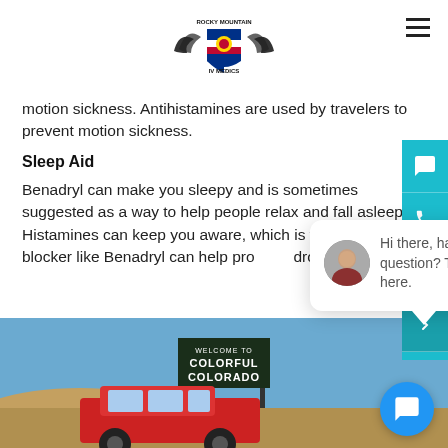Rocky Mountain IV Medics - logo and navigation
motion sickness. Antihistamines are used by travelers to prevent motion sickness.
Sleep Aid
Benadryl can make you sleepy and is sometimes suggested as a way to help people relax and fall asleep. Histamines can keep you aware, which is why a histamine blocker like Benadryl can help promote drowsiness.
[Figure (photo): Red Jeep Wrangler parked in front of a Welcome to Colorful Colorado highway sign, with desert landscape and blue sky in background]
[Figure (screenshot): Chat popup widget showing avatar of a woman and text: Hi there, have a question? Text us here. With close button and blue chat bubble button.]